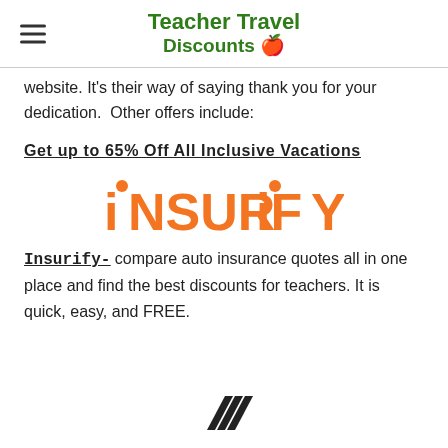Teacher Travel Discounts 🍎
website. It's their way of saying thank you for your dedication.  Other offers include:
Get up to 65% Off All Inclusive Vacations
[Figure (logo): Insurify logo in orange bold sans-serif text with dots above the two i letters]
Insurify- compare auto insurance quotes all in one place and find the best discounts for teachers. It is quick, easy, and FREE.
[Figure (logo): Adidas logo - three diagonal stripes forming a triangle/mountain shape in black]